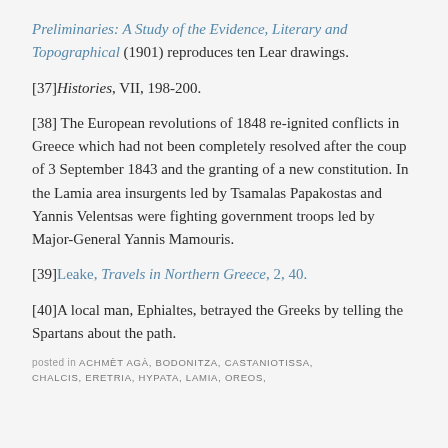Preliminaries: A Study of the Evidence, Literary and Topographical (1901) reproduces ten Lear drawings.
[37]Histories, VII, 198-200.
[38] The European revolutions of 1848 re-ignited conflicts in Greece which had not been completely resolved after the coup of 3 September 1843 and the granting of a new constitution. In the Lamia area insurgents led by Tsamalas Papakostas and Yannis Velentsas were fighting government troops led by Major-General Yannis Mamouris.
[39]Leake, Travels in Northern Greece, 2, 40.
[40]A local man, Ephialtes, betrayed the Greeks by telling the Spartans about the path.
posted in ACHMET AGA, BODONITZA, CASTANIOTISSA, CHALCIS, ERETRIA, HYPATA, LAMIA, OREOS,